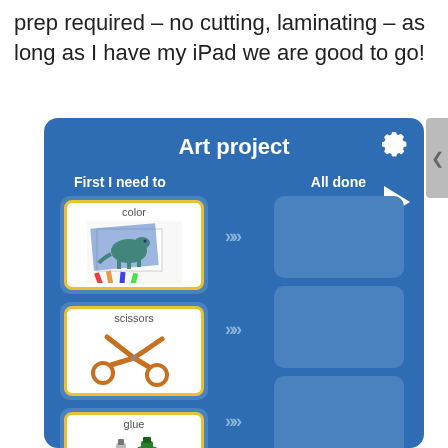prep required – no cutting, laminating – as long as I have my iPad we are good to go!
[Figure (screenshot): Screenshot of an iPad app showing an 'Art project' task organizer with two columns: 'First I need to' (showing color, scissors, glue cards) and 'All done' (empty placeholder slots). Blue background with gear and play button controls.]